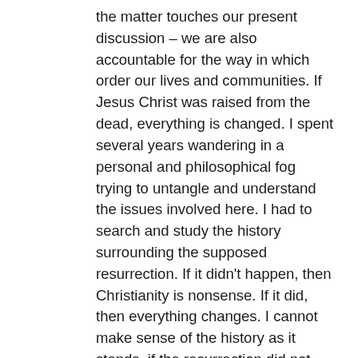the matter touches our present discussion – we are also accountable for the way in which order our lives and communities. If Jesus Christ was raised from the dead, everything is changed. I spent several years wandering in a personal and philosophical fog trying to untangle and understand the issues involved here. I had to search and study the history surrounding the supposed resurrection. If it didn't happen, then Christianity is nonsense. If it did, then everything changes. I cannot make sense of the history as it stands, if the resurrection did not occur: it doesn't make sense. Thus, I believe.
Nothing you have expressed to me has been either strident or hostile. I have appreciated your candour and directness, and enjoyed the discussion. If you want to continue the